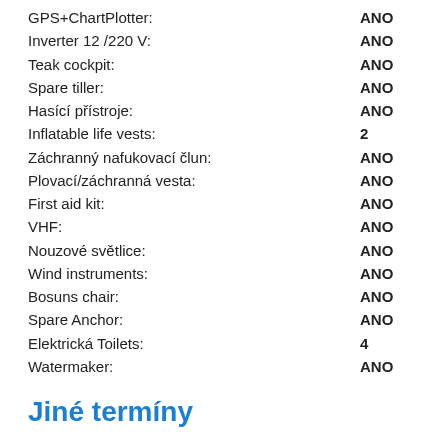GPS+ChartPlotter: ANO
Inverter 12 /220 V: ANO
Teak cockpit: ANO
Spare tiller: ANO
Hasící přístroje: ANO
Inflatable life vests: 2
Záchranný nafukovací člun: ANO
Plovací/záchranná vesta: ANO
First aid kit: ANO
VHF: ANO
Nouzové světlice: ANO
Wind instruments: ANO
Bosuns chair: ANO
Spare Anchor: ANO
Elektrická Toilets: 4
Watermaker: ANO
Jiné termíny